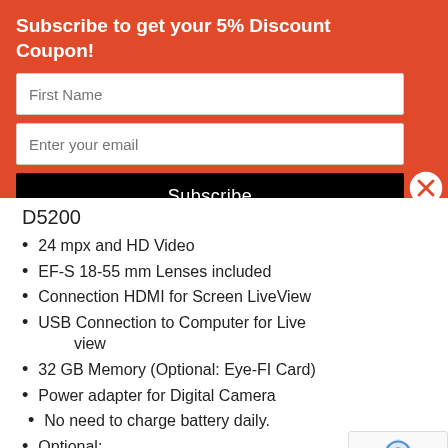Subscribe to get your 5% Discount Coupon!
First Name
Enter your email
Subscribe
D5200
24 mpx and HD Video
EF-S 18-55 mm Lenses included
Connection HDMI for Screen LiveView
USB Connection to Computer for Live view
32 GB Memory (Optional: Eye-FI Card)
Power adapter for Digital Camera
No need to charge battery daily.
Optional:
Wireless SD Card Eye-FI